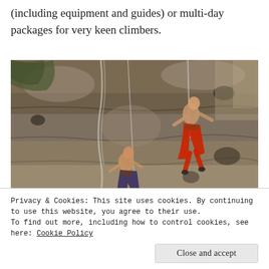(including equipment and guides) or multi-day packages for very keen climbers.
[Figure (photo): Two rock climbers scaling a steep rocky cliff face. One climber is in the upper right wearing red pants and no shirt, attached to a rope. Another climber is in the lower left area also shirtless.]
Privacy & Cookies: This site uses cookies. By continuing to use this website, you agree to their use.
To find out more, including how to control cookies, see here: Cookie Policy
Close and accept